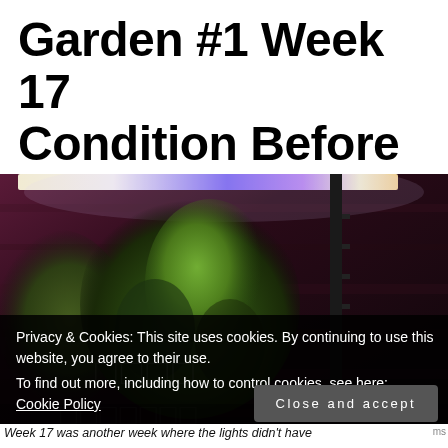Garden #1 Week 17 Condition Before Harvesting Herbs
[Figure (photo): Indoor herb garden photo showing lush green basil plants growing under a purple/white LED grow light bar, with a dark wooden background and a vertical pole/stand visible on the right side.]
Privacy & Cookies: This site uses cookies. By continuing to use this website, you agree to their use.
To find out more, including how to control cookies, see here: Cookie Policy
Close and accept
Week 17 was another week where the lights didn't have...